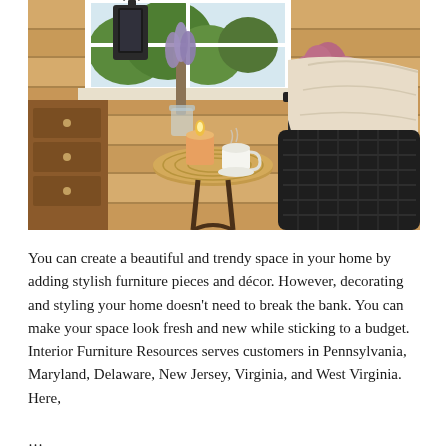[Figure (photo): A cozy balcony or porch setting with a round wicker side table holding a lit candle and a white coffee cup, a dark wicker chair draped with a cream blanket, lavender and pink heather flowers in vases and pots, a black lantern, and wooden plank walls in the background.]
You can create a beautiful and trendy space in your home by adding stylish furniture pieces and décor. However, decorating and styling your home doesn't need to break the bank. You can make your space look fresh and new while sticking to a budget. Interior Furniture Resources serves customers in Pennsylvania, Maryland, Delaware, New Jersey, Virginia, and West Virginia. Here,
...